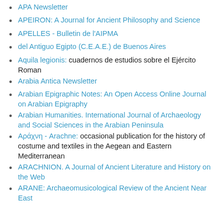APA Newsletter
APEIRON: A Journal for Ancient Philosophy and Science
APELLES - Bulletin de l'AIPMA
del Antiguo Egipto (C.E.A.E.) de Buenos Aires
Aquila legionis: cuadernos de estudios sobre el Ejército Roman
Arabia Antica Newsletter
Arabian Epigraphic Notes: An Open Access Online Journal on Arabian Epigraphy
Arabian Humanities. International Journal of Archaeology and Social Sciences in the Arabian Peninsula
Αράχνη - Arachne: occasional publication for the history of costume and textiles in the Aegean and Eastern Mediterranean
ARACHNION. A Journal of Ancient Literature and History on the Web
ARANE: Archaeomusicological Review of the Ancient Near East